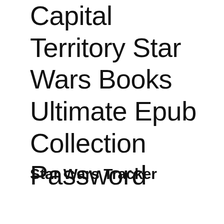Capital Territory Star Wars Books Ultimate Epub Collection Password
Star Wars Tracker